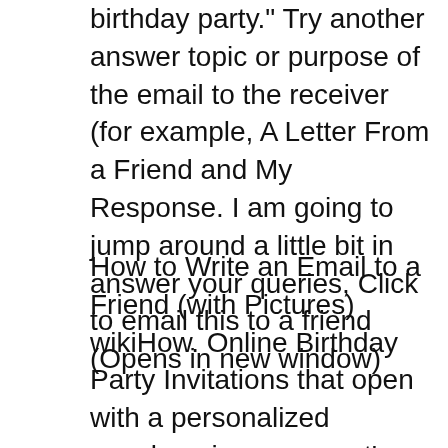birthday party." Try another answer topic or purpose of the email to the receiver (for example, A Letter From a Friend and My Response. I am going to jump around a little bit in answer your queries, Click to email this to a friend (Opens in new window)
How to Write an Email to a Friend (with Pictures) wikiHow. Online Birthday Party Invitations that open with a personalized envelope in your guest's email! Online Birthday Party Invitations evening with friends,, 4.5 Good Morning I just want to reply to a message from my friend inviting me for her to reply by